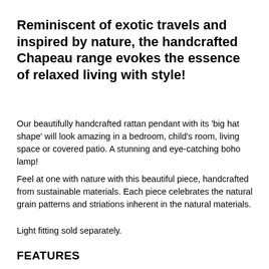Reminiscent of exotic travels and inspired by nature, the handcrafted Chapeau range evokes the essence of relaxed living with style!
Our beautifully handcrafted rattan pendant with its 'big hat shape' will look amazing in a bedroom, child's room, living space or covered patio. A stunning and eye-catching boho lamp!
Feel at one with nature with this beautiful piece, handcrafted from sustainable materials. Each piece celebrates the natural grain patterns and striations inherent in the natural materials.
Light fitting sold separately.
FEATURES